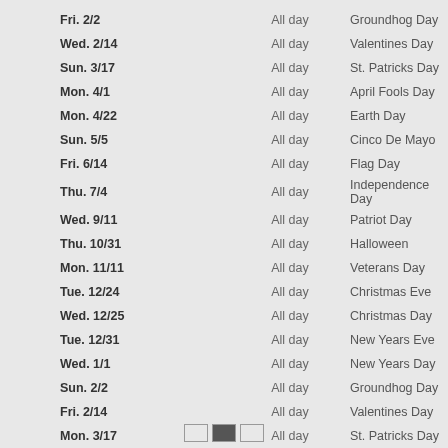| Date | Time | Holiday |
| --- | --- | --- |
| Fri. 2/2 | All day | Groundhog Day |
| Wed. 2/14 | All day | Valentines Day |
| Sun. 3/17 | All day | St. Patricks Day |
| Mon. 4/1 | All day | April Fools Day |
| Mon. 4/22 | All day | Earth Day |
| Sun. 5/5 | All day | Cinco De Mayo |
| Fri. 6/14 | All day | Flag Day |
| Thu. 7/4 | All day | Independence Day |
| Wed. 9/11 | All day | Patriot Day |
| Thu. 10/31 | All day | Halloween |
| Mon. 11/11 | All day | Veterans Day |
| Tue. 12/24 | All day | Christmas Eve |
| Wed. 12/25 | All day | Christmas Day |
| Tue. 12/31 | All day | New Years Eve |
| Wed. 1/1 | All day | New Years Day |
| Sun. 2/2 | All day | Groundhog Day |
| Fri. 2/14 | All day | Valentines Day |
| Mon. 3/17 | All day | St. Patricks Day |